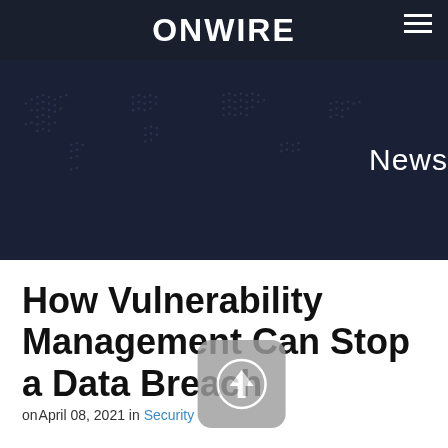ONWIRE
News
How Vulnerability Management Can Stop a Data Breach
on April 08, 2021 in Security